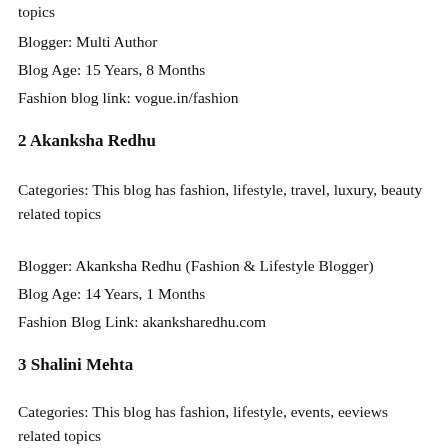topics
Blogger: Multi Author
Blog Age: 15 Years, 8 Months
Fashion blog link: vogue.in/fashion
2 Akanksha Redhu
Categories: This blog has fashion, lifestyle, travel, luxury, beauty related topics
Blogger: Akanksha Redhu (Fashion & Lifestyle Blogger)
Blog Age: 14 Years, 1 Months
Fashion Blog Link: akanksharedhu.com
3 Shalini Mehta
Categories: This blog has fashion, lifestyle, events, eeviews related topics